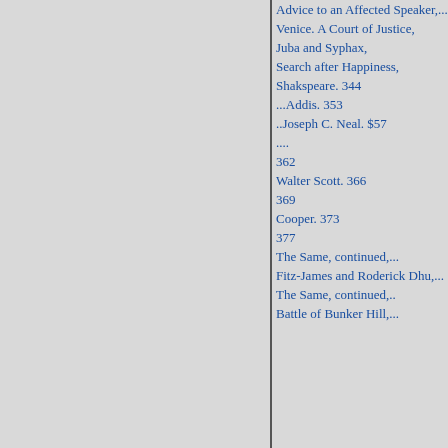Advice to an Affected Speaker,...
Venice. A Court of Justice,
Juba and Syphax,
Search after Happiness,
Shakspeare. 344
...Addis. 353
..Joseph C. Neal. $57
....
362
Walter Scott. 366
369
Cooper. 373
377
The Same, continued,...
Fitz-James and Roderick Dhu,...
The Same, continued,..
Battle of Bunker Hill,...